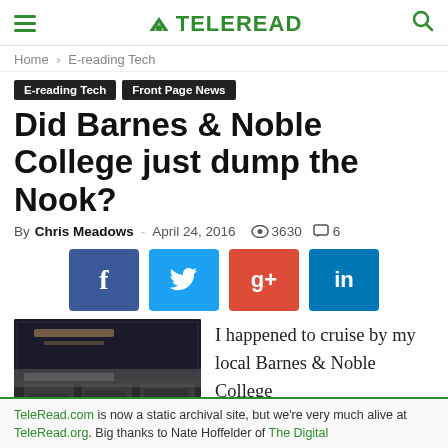TELEREAD
Home › E-reading Tech
E-reading Tech  Front Page News
Did Barnes & Noble College just dump the Nook?
By Chris Meadows - April 24, 2016  3630  6
[Figure (infographic): Social sharing buttons: Facebook (f), Twitter (bird), Google+ (g+), LinkedIn (in)]
[Figure (photo): Interior of a Barnes & Noble College bookstore]
I happened to cruise by my local Barnes & Noble College
TeleRead.com is now a static archival site, but we're very much alive at TeleRead.org. Big thanks to Nate Hoffelder of The Digital